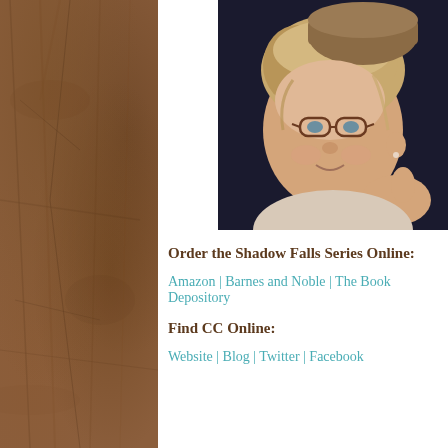[Figure (photo): Author photo: blonde woman wearing glasses and a brown hat, resting her chin on her hand, smiling, against a dark background]
Order the Shadow Falls Series Online:
Amazon | Barnes and Noble | The Book Depository
Find CC Online:
Website | Blog | Twitter | Facebook